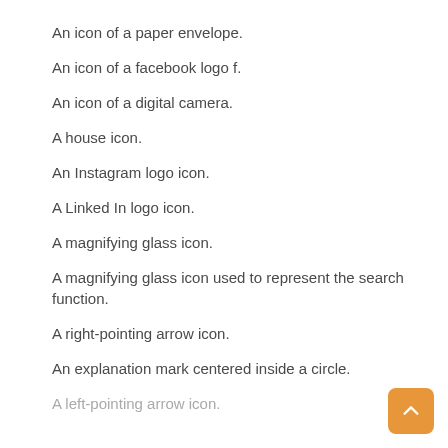An icon of a paper envelope.
An icon of a facebook logo f.
An icon of a digital camera.
A house icon.
An Instagram logo icon.
A Linked In logo icon.
A magnifying glass icon.
A magnifying glass icon used to represent the search function.
A right-pointing arrow icon.
An explanation mark centered inside a circle.
A left-pointing arrow icon.